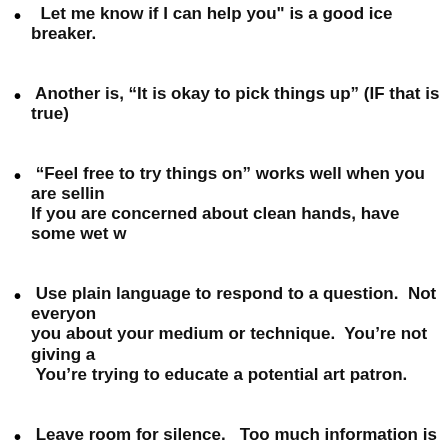"Let me know if I can help you" is a good ice breaker.
Another is, “It is okay to pick things up” (IF that is true)
“Feel free to try things on” works well when you are selling... If you are concerned about clean hands, have some wet w...
Use plain language to respond to a question.  Not everyone asks you about your medium or technique.  You’re not giving a...  You’re trying to educate a potential art patron.
Leave room for silence.   Too much information is overloading... visitor is at a large art or craft fair.  Short, informative ans... more dialogue if they are interested in buying.  No one bu... them down with your oration and no one likes to be “talke...